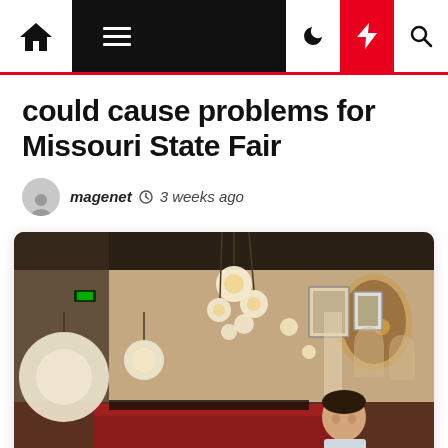Navigation bar with home, menu, moon, bolt, and search icons
could cause problems for Missouri State Fair
magenet  3 weeks ago
[Figure (photo): Interior of a restaurant with globe pendant lights hanging from the ceiling, red booth seating, framed pictures and mirrors on warm-toned walls, and a young man sitting in the foreground]